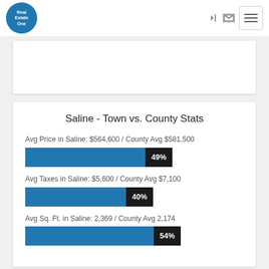[Figure (logo): Real Estate One circular blue logo]
Saline - Town vs. County Stats
Avg Price in Saline: $564,600 / County Avg $581,500
[Figure (bar-chart): Avg Price in Saline vs County]
Avg Taxes in Saline: $5,600 / County Avg $7,100
[Figure (bar-chart): Avg Taxes in Saline vs County]
Avg Sq. Ft. in Saline: 2,369 / County Avg 2,174
[Figure (bar-chart): Avg Sq Ft in Saline vs County]